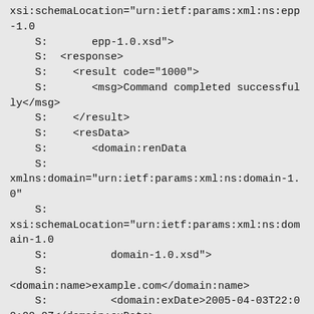xsi:schemaLocation="urn:ietf:params:xml:ns:epp-1.0
    S:       epp-1.0.xsd">
    S:  <response>
    S:    <result code="1000">
    S:       <msg>Command completed successfully</msg>
    S:    </result>
    S:    <resData>
    S:       <domain:renData
    S:
xmlns:domain="urn:ietf:params:xml:ns:domain-1.0"
    S:
xsi:schemaLocation="urn:ietf:params:xml:ns:domain-1.0
    S:          domain-1.0.xsd">
    S:
<domain:name>example.com</domain:name>
    S:          <domain:exDate>2005-04-03T22:00:00.0Z</domain:exDate>
    S:          </domain:renData>
    S:  </resData>